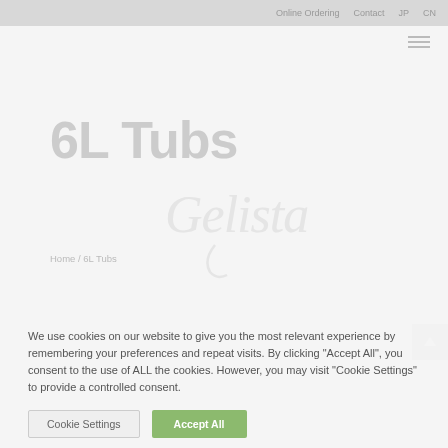Online Ordering   Contact   JP   CN
6L Tubs
[Figure (logo): Gelista brand logo watermark in light gray cursive script]
Home / 6L Tubs
We use cookies on our website to give you the most relevant experience by remembering your preferences and repeat visits. By clicking "Accept All", you consent to the use of ALL the cookies. However, you may visit "Cookie Settings" to provide a controlled consent.
Cookie Settings   Accept All